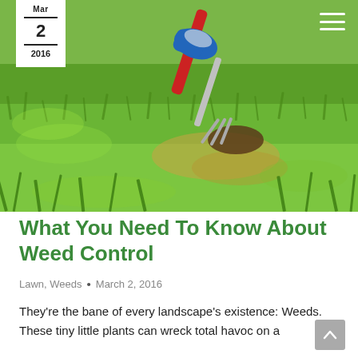[Figure (photo): Close-up photo of a person using a hand cultivator/weeding tool in a lawn, pulling weeds from green grass. A gloved hand holds a red-handled fork tool pressing into soil among grass.]
Mar 2 2016
What You Need To Know About Weed Control
Lawn, Weeds • March 2, 2016
They're the bane of every landscape's existence: Weeds. These tiny little plants can wreck total havoc on a